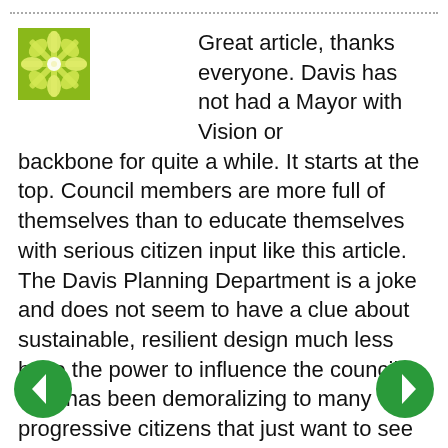[Figure (illustration): Decorative dotted horizontal line separator at the top of the page]
[Figure (illustration): Green and yellow snowflake/flower avatar icon, square shaped]
Great article, thanks everyone. Davis has not had a Mayor with Vision or backbone for quite a while. It starts at the top. Council members are more full of themselves than to educate themselves with serious citizen input like this article. The Davis Planning Department is a joke and does not seem to have a clue about sustainable, resilient design much less have the power to influence the council. This has been demoralizing to many progressive citizens that just want to see Davis be a truly green city. The most egregious, unsustainable projects of late are the mega-dorms on 5th and Olive Drive that will influence a bizarre gentrification where a closet with a bathroom will cost $1200 or more! Wait until
[Figure (illustration): Green circle navigation button with left arrow (previous)]
[Figure (illustration): Green circle navigation button with right arrow (next)]